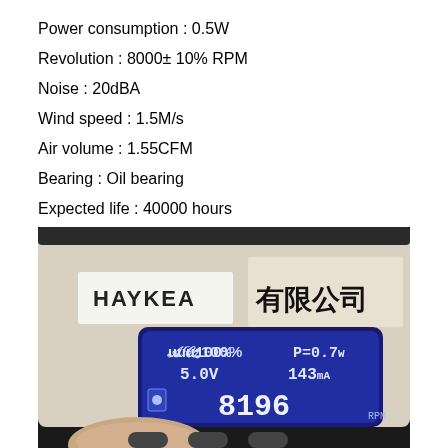Power consumption : 0.5W
Revolution : 8000± 10% RPM
Noise : 20dBA
Wind speed : 1.5M/s
Air volume : 1.55CFM
Bearing : Oil bearing
Expected life : 40000 hours
[Figure (photo): Photo of a measurement device (HAYKEA label) with LCD display showing: 100% duty cycle, P=0.7W, 5.0V, 143mA, 8196 RPM. Chinese characters visible (有限公司). A finger is visible at the bottom of the image.]